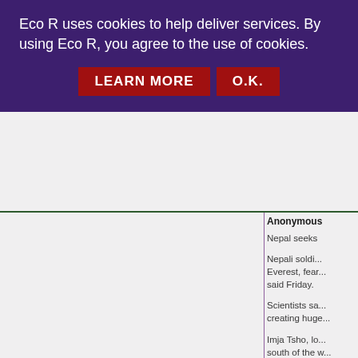Eco R uses cookies to help deliver services. By using Eco R, you agree to the use of cookies.
LEARN MORE   O.K.
Anonymous
Nepal seeks
Nepali soldi... Everest, fear... said Friday.
Scientists sa... creating huge...
Imja Tsho, lo... south of the w...
The surface... 1984 and 200...